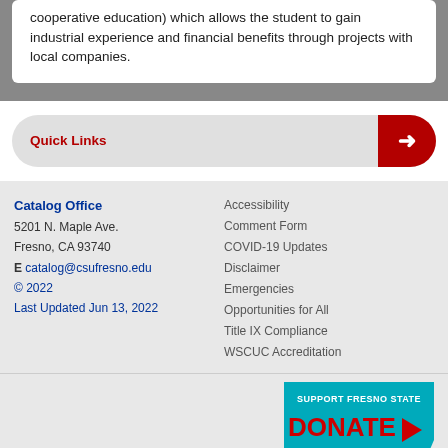cooperative education) which allows the student to gain industrial experience and financial benefits through projects with local companies.
Quick Links
Catalog Office
5201 N. Maple Ave.
Fresno, CA 93740
E catalog@csufresno.edu
© 2022
Last Updated Jun 13, 2022
Accessibility
Comment Form
COVID-19 Updates
Disclaimer
Emergencies
Opportunities for All
Title IX Compliance
WSCUC Accreditation
[Figure (infographic): Support Fresno State DONATE button in teal/cyan with red donate text and arrow, chevron shape]